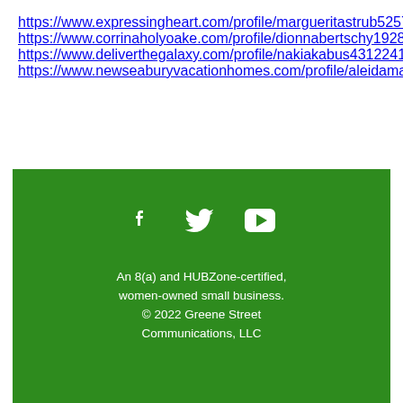https://www.expressingheart.com/profile/margueritastrub5257965/profile
https://www.corrinaholyoake.com/profile/dionnabertschy19282590/profile
https://www.deliverthegalaxy.com/profile/nakiakabus4312241/profile
https://www.newseaburyvacationhomes.com/profile/aleidamainer13372206/profile
[Figure (infographic): Green footer box with Facebook, Twitter, and YouTube social media icons, followed by text: An 8(a) and HUBZone-certified, women-owned small business. © 2022 Greene Street Communications, LLC]